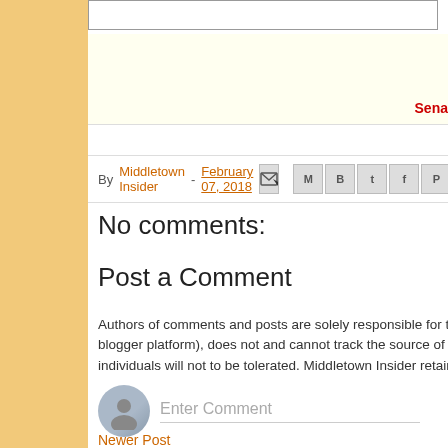[Figure (screenshot): Top input/search bar area, partially visible]
[Figure (screenshot): Advertisement banner area with light yellow background]
Sena
By Middletown Insider - February 07, 2018
No comments:
Post a Comment
Authors of comments and posts are solely responsible for their statem blogger platform), does not and cannot track the source of comments individuals will not to be tolerated. Middletown Insider retains the right
Enter Comment
Newer Post